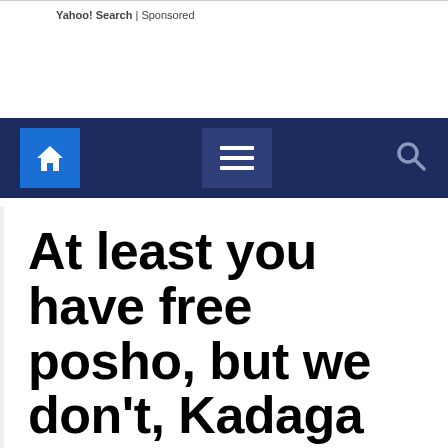Yahoo! Search | Sponsored
[Figure (screenshot): Navigation bar with home button (blue square with house icon), hamburger menu (three lines), and search icon on dark navy background]
At least you have free posho, but we don't, Kadaga defends MPs